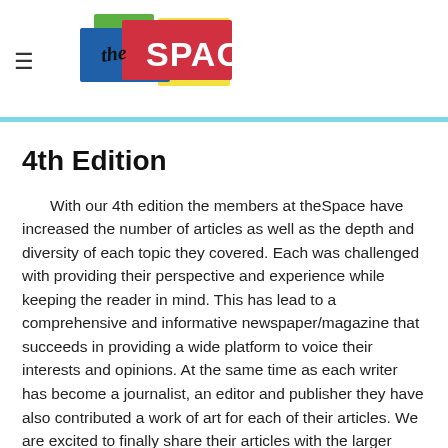[Figure (logo): theSpace logo — colorful overlapping rectangles in blue, green, red, yellow with 'the' in script and 'SPACE' in bold white text]
4th Edition
With our 4th edition the members at theSpace have increased the number of articles as well as the depth and diversity of each topic they covered. Each was challenged with providing their perspective and experience while keeping the reader in mind. This has lead to a comprehensive and informative newspaper/magazine that succeeds in providing a wide platform to voice their interests and opinions. At the same time as each writer has become a journalist, an editor and publisher they have also contributed a work of art for each of their articles. We are excited to finally share their articles with the larger community both online and here in Ottawa.